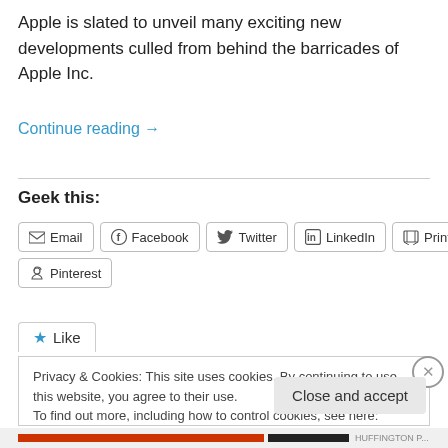Apple is slated to unveil many exciting new developments culled from behind the barricades of Apple Inc.
Continue reading →
Geek this:
Email | Facebook | Twitter | LinkedIn | Print | Pinterest
★ Like
Privacy & Cookies: This site uses cookies. By continuing to use this website, you agree to their use. To find out more, including how to control cookies, see here: Cookie Policy
Close and accept